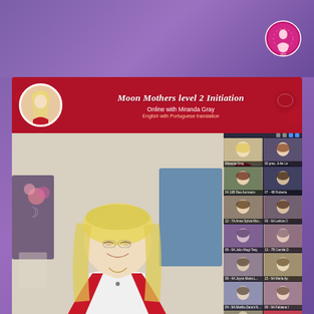[Figure (photo): Purple gradient top banner with a circular logo/badge in the top right corner showing a pink/red design with '2023' text]
[Figure (photo): Red event banner reading 'Moon Mothers Level 2 Initiation' in italic script with portrait of blonde woman in circle, subtitle 'Online with Miranda Gray', sub-text 'English with Portuguese translation', rose decorations on background]
[Figure (photo): Screenshot of online video call. Main panel shows a smiling blonde woman with glasses wearing red and white clothing, in a decorated room with moon artwork and flowers. Right sidebar shows a grid of participant thumbnails including: Miranda Gray, 00 pres. Julia La, 04 10B Rea Aurmann, 07 - 4B Roberta, 12 - 7A Anna Sylvia Mor..., 03 - 6A Leticia O, 09 - 9A Julio Mogi Targ, 13 - 7B Camila D, 09 - 4A Joyce Maria L, 15 - 9A Maria Ap, 04 - 9A Marilia Zaroni N, 09 - 9A Fabiana I, and more partially visible thumbnails]